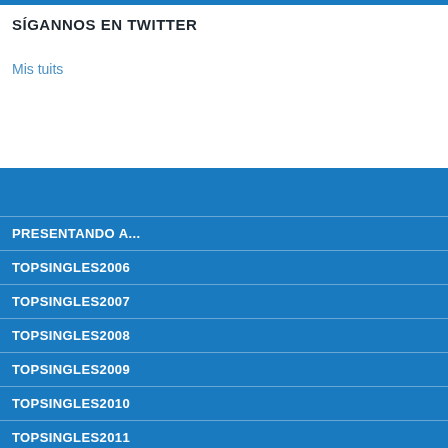SÍGANNOS EN TWITTER
Mis tuits
PRESENTANDO A...
TOPSINGLES2006
TOPSINGLES2007
TOPSINGLES2008
TOPSINGLES2009
TOPSINGLES2010
TOPSINGLES2011